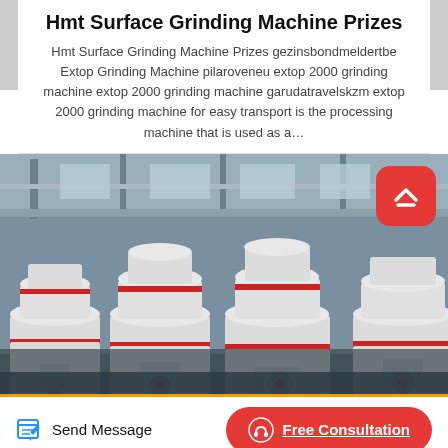Hmt Surface Grinding Machine Prizes
Hmt Surface Grinding Machine Prizes gezinsbondmeldertbe Extop Grinding Machine pilaroveneu extop 2000 grinding machine extop 2000 grinding machine garudatravelskzm extop 2000 grinding machine for easy transport is the processing machine that is used as a…
[Figure (photo): Photograph of large industrial grinding machines in a factory setting. Multiple white cylindrical grinding machines with red accent bands are shown side by side inside an industrial warehouse.]
Send Message
Free Consultation